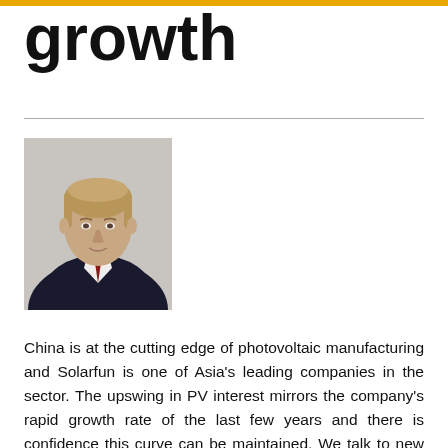growth
[Figure (photo): Headshot portrait of CEO Harold Hoskens, a middle-aged man in a dark suit with a red tie, light background]
China is at the cutting edge of photovoltaic manufacturing and Solarfun is one of Asia's leading companies in the sector. The upswing in PV interest mirrors the company's rapid growth rate of the last few years and there is confidence this curve can be maintained. We talk to new CEO Harold Hoskens, who has joined the company after extensive experience with Philips, and has great insight into the East-West world that the company operates in.